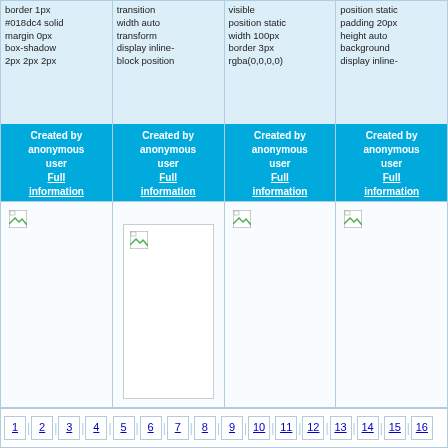border 1px #018dc4 solid margin 0px box-shadow 2px 2px 2px
transition width auto transform display inline- block position
visible position static width 100px border 3px rgba(0,0,0,0)
position static padding 20px height auto background display inline-
Created by anonymous user Full information
Created by anonymous user Full information
Created by anonymous user Full information
Created by anonymous user Full information
[Figure (screenshot): Broken image placeholder in first column]
[Figure (screenshot): Broken image placeholder in second column with inner bordered box]
[Figure (screenshot): Broken image placeholder in third column]
[Figure (screenshot): Broken image placeholder in fourth column]
1 | 2 | 3 | 4 | 5 | 6 | 7 | 8 | 9 | 10 | 11 | 12 | 13 | 14 | 15 | 16